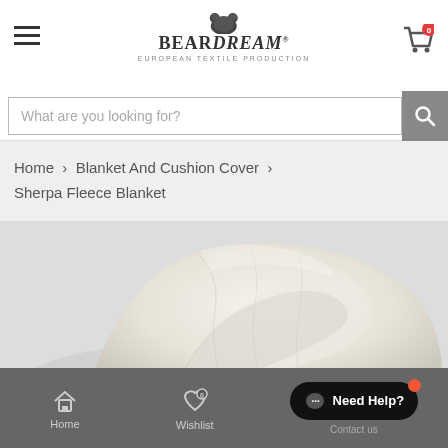BearDream - European Textile Production
What are you looking for?
Home > Blanket And Cushion Cover > Sherpa Fleece Blanket
[Figure (photo): Close-up photo of a cream/beige Sherpa Fleece Blanket folded, showing soft textured surface]
Home  Wishlist  Need Help?  Contact us